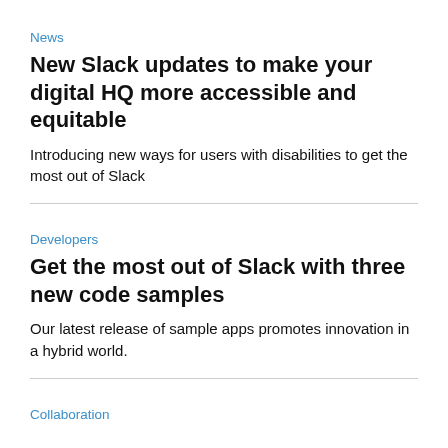News
New Slack updates to make your digital HQ more accessible and equitable
Introducing new ways for users with disabilities to get the most out of Slack
Developers
Get the most out of Slack with three new code samples
Our latest release of sample apps promotes innovation in a hybrid world.
Collaboration